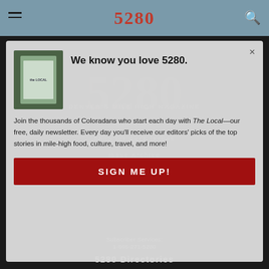5280
[Figure (screenshot): 5280 Denver's Mile High Magazine website header with navigation bar showing hamburger menu, 5280 logo in red serif font, and search icon on a muted blue-gray background]
We know you love 5280.
Join the thousands of Coloradans who start each day with The Local—our free, daily newsletter. Every day you'll receive our editors' picks of the top stories in mile-high food, culture, travel, and more!
SIGN ME UP!
Subscriber Services:
1-866-271-5280
5280 Directories